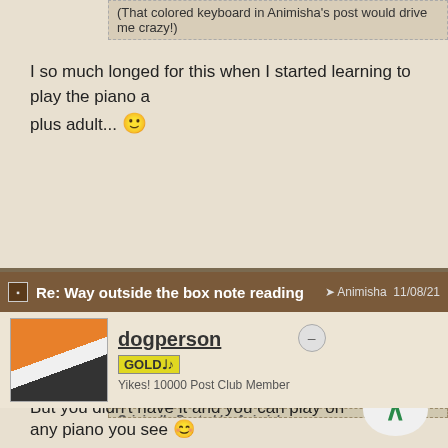(That colored keyboard in Animisha's post would drive me crazy!)
I so much longed for this when I started learning to play the piano a plus adult...
Re: Way outside the box note reading — Animisha 11/08/21
dogperson — GOLD — Yikes! 10000 Post Club Member
Originally Posted by Animisha
Originally Posted by jdw
(That colored keyboard in Animisha's post would drive me cra...
I so much longed for this when I started learning to play the piano a aged-plus adult...
But you didn't have it and you can play on any piano you see 😊